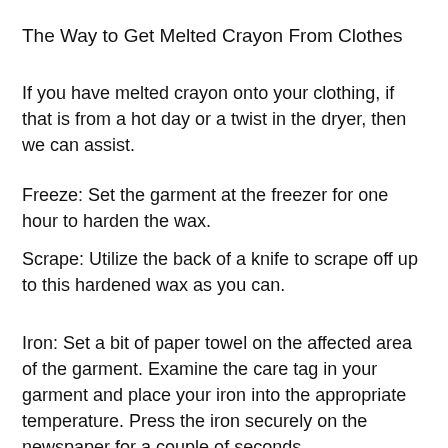The Way to Get Melted Crayon From Clothes
If you have melted crayon onto your clothing, if that is from a hot day or a twist in the dryer, then we can assist.
Freeze: Set the garment at the freezer for one hour to harden the wax.
Scrape: Utilize the back of a knife to scrape off up to this hardened wax as you can.
Iron: Set a bit of paper towel on the affected area of the garment. Examine the care tag in your garment and place your iron into the appropriate temperature. Press the iron securely on the newspaper for a couple of seconds.